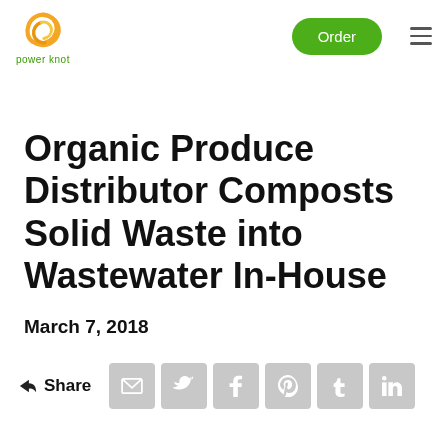power knot | Order
Organic Produce Distributor Composts Solid Waste into Wastewater In-House
March 7, 2018
Share